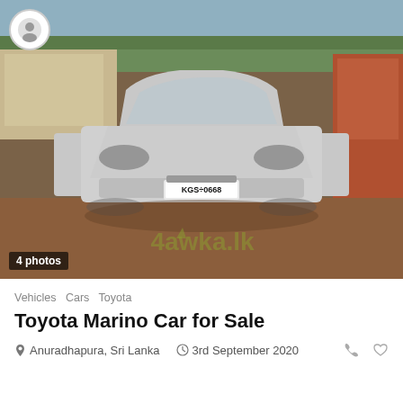[Figure (photo): Silver Toyota Marino sedan car with doors open, parked on a dirt surface. License plate reads KGS-0668. Watermark '4awka.lk' visible on the image. Profile/user icon in top-left corner.]
4 photos
Vehicles  Cars  Toyota
Toyota Marino Car for Sale
Anuradhapura, Sri Lanka   3rd September 2020